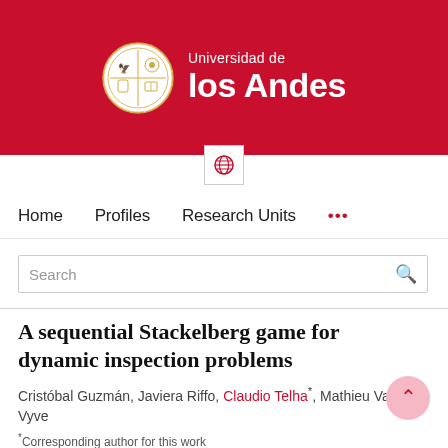[Figure (logo): Universidad de los Andes logo with crest and text on red background]
Home   Profiles   Research Units   ...
Search
A sequential Stackelberg game for dynamic inspection problems
Cristóbal Guzmán, Javiera Riffo, Claudio Telha*, Mathieu Van Vyve
* Corresponding author for this work